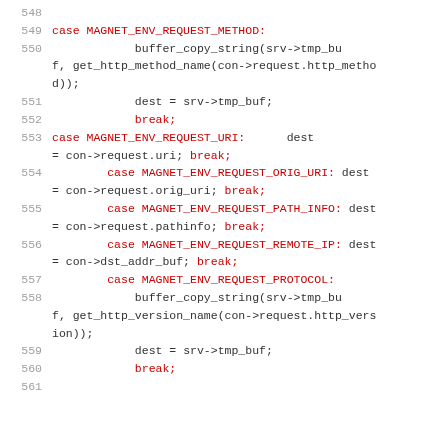Source code listing lines 548-561 showing C switch-case statements for MAGNET_ENV_REQUEST_* constants
548: (blank)
549: case MAGNET_ENV_REQUEST_METHOD:
550:     buffer_copy_string(srv->tmp_buf, get_http_method_name(con->request.http_method));
551:     dest = srv->tmp_buf;
552:     break;
553: case MAGNET_ENV_REQUEST_URI:      dest = con->request.uri; break;
554: case MAGNET_ENV_REQUEST_ORIG_URI: dest = con->request.orig_uri; break;
555: case MAGNET_ENV_REQUEST_PATH_INFO: dest = con->request.pathinfo; break;
556: case MAGNET_ENV_REQUEST_REMOTE_IP: dest = con->dst_addr_buf; break;
557: case MAGNET_ENV_REQUEST_PROTOCOL:
558:     buffer_copy_string(srv->tmp_buf, get_http_version_name(con->request.http_version));
559:     dest = srv->tmp_buf;
560:     break;
561: (blank)